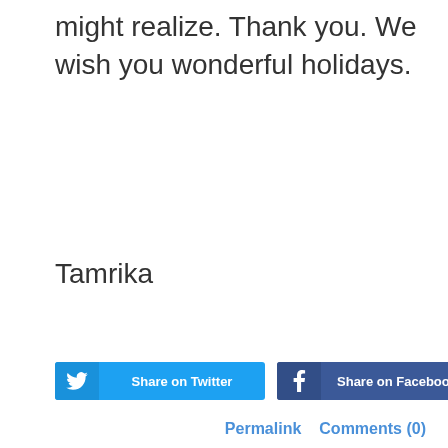might realize. Thank you. We wish you wonderful holidays.
Tamrika
[Figure (other): Share on Twitter button (blue) and Share on Facebook button (dark blue) side by side]
Permalink   Comments (0)
[Figure (other): Diagonal red and blue stripe divider banner]
October - an International Day of the di...
[Figure (other): Project Report stamp circular seal with date Aug 27, 2019, and illustration of children]